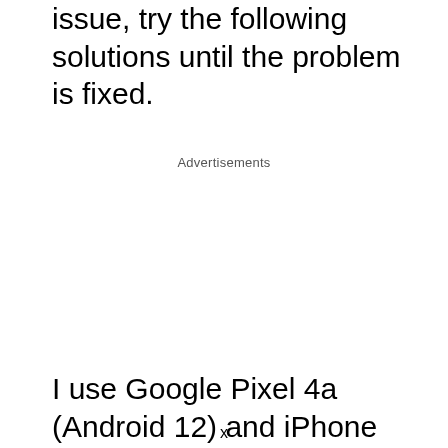issue, try the following solutions until the problem is fixed.
Advertisements
I use Google Pixel 4a (Android 12) and iPhone 12 in the test.
x